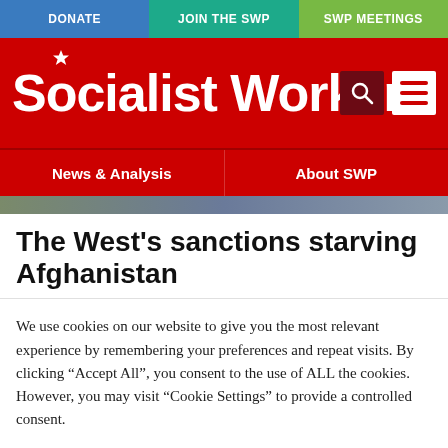DONATE | JOIN THE SWP | SWP MEETINGS
[Figure (logo): Socialist Worker logo with red background, white bold text, star above 'i', search icon and hamburger menu icon]
News & Analysis | About SWP
[Figure (photo): Thin hero image strip]
The West's sanctions starving Afghanistan
We use cookies on our website to give you the most relevant experience by remembering your preferences and repeat visits. By clicking "Accept All", you consent to the use of ALL the cookies. However, you may visit "Cookie Settings" to provide a controlled consent.
Cookie Settings | Accept All